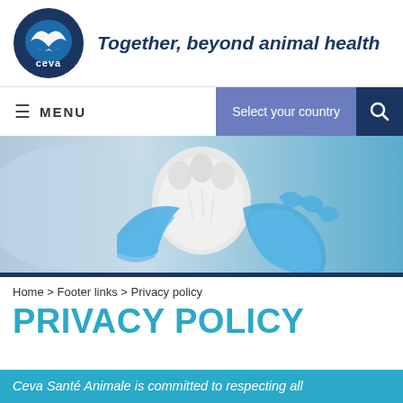[Figure (logo): Ceva circular logo — white bird/wave on dark navy blue circle]
Together, beyond animal health
≡ MENU   Select your country 🔍
[Figure (photo): Close-up of veterinary-gloved hands (blue latex gloves) holding a white animal paw]
Home > Footer links > Privacy policy
PRIVACY POLICY
Ceva Santé Animale is committed to respecting all